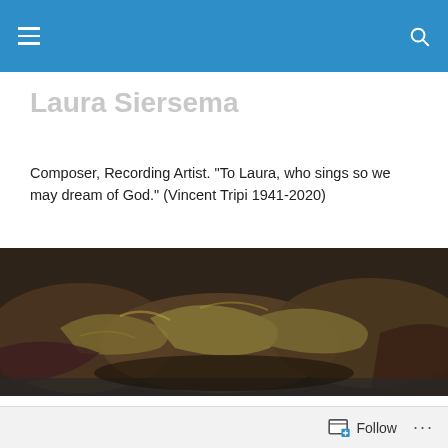Laura Siersema navigation bar
Laura Siersema
Composer, Recording Artist. "To Laura, who sings so we may dream of God." (Vincent Tripi 1941-2020)
[Figure (photo): A dark, moody photograph of crumpled or folded fabric-like material in shades of dark olive, brown, and burgundy lying on a grey surface]
POSTED IN THOUGHTS ON ART
Fred Hampton & Vaclav Havel
Follow